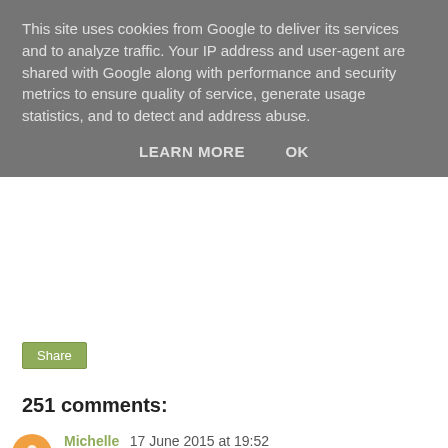This site uses cookies from Google to deliver its services and to analyze traffic. Your IP address and user-agent are shared with Google along with performance and security metrics to ensure quality of service, generate usage statistics, and to detect and address abuse.
LEARN MORE   OK
Share
251 comments:
Michelle 17 June 2015 at 19:52
Oh this is a great idea. Next year will be little J's first proper birthday party and I can't wait to search for ideas based on the theme. Thanks for linking up to #ToddlersAndTeens via mummy2monkeys